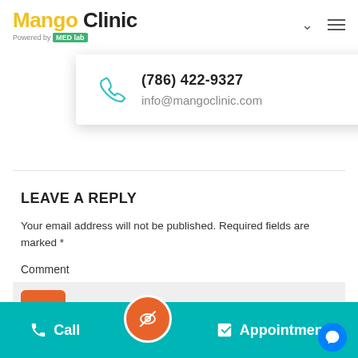[Figure (logo): Mango Clinic logo with 'Powered by MED-lab' tagline]
[Figure (screenshot): Dropdown contact card showing phone (786) 422-9327 and email info@mangoclinic.com with teal phone icon]
LEAVE A REPLY
Your email address will not be published. Required fields are marked *
Comment
[Figure (screenshot): Comment textarea with orange scroll-to-top button]
[Figure (screenshot): Bottom action bar with Call, center eye-slash button, Appointment links on teal background]